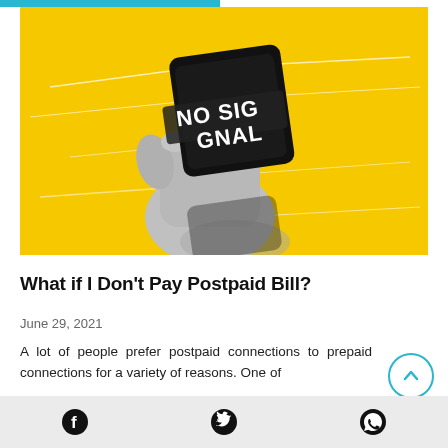[Figure (illustration): Yellow background with a hand holding a black smartphone displaying bold white text 'NO SIGNAL' (split across two lines as 'NO SIG' and 'GNAL') with white scratch/glitch lines across the image.]
What if I Don’t Pay Postpaid Bill?
June 29, 2021
A lot of people prefer postpaid connections to prepaid connections for a variety of reasons. One of
Facebook | Twitter | WhatsApp